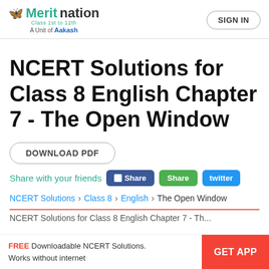[Figure (logo): Meritnation logo with butterfly icon, tagline 'Class 1st to 12th', 'A Unit of Aakash']
[Figure (other): SIGN IN button (pill-shaped border button)]
NCERT Solutions for Class 8 English Chapter 7 - The Open Window
DOWNLOAD PDF
Share with your friends  Share  Share  twitter
NCERT Solutions  Class 8  English  The Open Window
NCERT Solutions for Class 8 English Chapter 7 - Th...
FREE Downloadable NCERT Solutions. Works without internet  GET APP